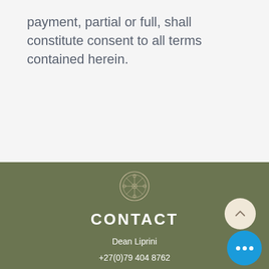payment, partial or full, shall constitute consent to all terms contained herein.
[Figure (logo): Circular logo emblem for Sunpath, light colored on olive green background]
CONTACT
Dean Liprini
+27(0)79 404 8762
dean@sunpath.co.za
61 Glenoak Road
Welcome Glen
Cape Town, Western Cape 7975
South Africa